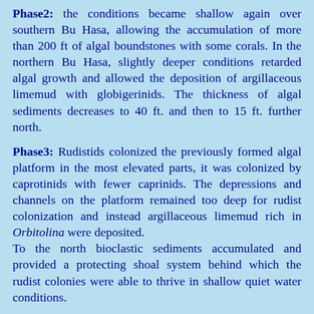Phase2: the conditions became shallow again over southern Bu Hasa, allowing the accumulation of more than 200 ft of algal boundstones with some corals. In the northern Bu Hasa, slightly deeper conditions retarded algal growth and allowed the deposition of argillaceous limemud with globigerinids. The thickness of algal sediments decreases to 40 ft. and then to 15 ft. further north.
Phase3: Rudistids colonized the previously formed algal platform in the most elevated parts, it was colonized by caprotinids with fewer caprinids. The depressions and channels on the platform remained too deep for rudist colonization and instead argillaceous limemud rich in Orbitolina were deposited. To the north bioclastic sediments accumulated and provided a protecting shoal system behind which the rudist colonies were able to thrive in shallow quiet water conditions.
Late Shuaiba regressive sedimentation caused the rudist